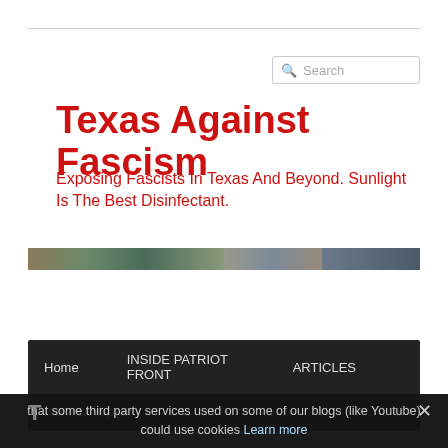[Figure (screenshot): Search input box with magnifier icon and placeholder text 'Search']
Texas Against Fascism
Exposing Fascists In Texas And Beyond. Sunlight Is The Best Disinfectant.
[Figure (photo): Horizontal strip hero image showing outdoor/camouflage themed photography]
[Figure (screenshot): Navigation bar with links: Home, INSIDE PATRIOT FRONT, ARTICLES, Hate Groups, Resources]
that some third party services used on some of our blogs (like Youtube) could use cookies Learn more